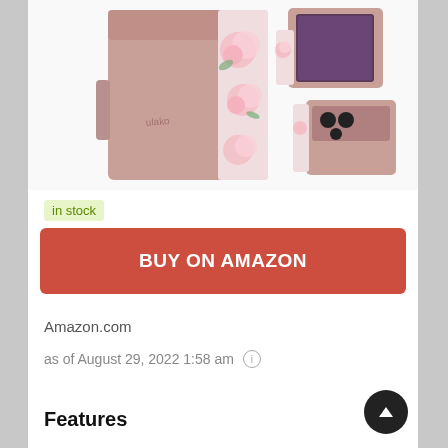[Figure (photo): Product photo of a rose gold and floral pink phone wallet case shown from multiple angles — front closed view, open view as stand, and side view.]
in stock
BUY ON AMAZON
Amazon.com
as of August 29, 2022 1:58 am ℹ
Features